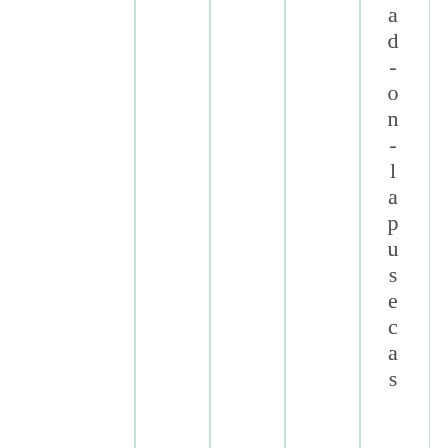|  |  |  |  | ad-on-lapusecas |
ad-on-lapusecas